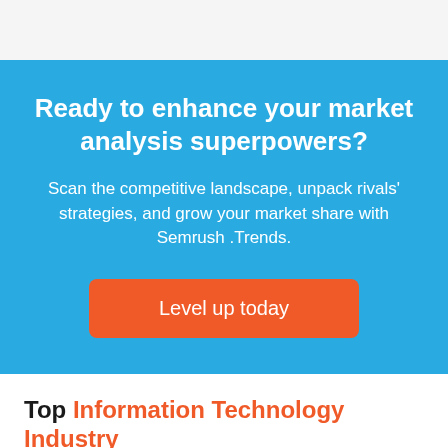Ready to enhance your market analysis superpowers?
Scan the competitive landscape, unpack rivals' strategies, and grow your market share with Semrush .Trends.
Level up today
Top Information Technology Industry